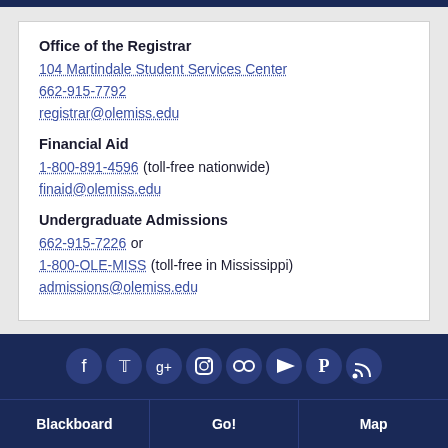Office of the Registrar
104 Martindale Student Services Center
662-915-7792
registrar@olemiss.edu
Financial Aid
1-800-891-4596 (toll-free nationwide)
finaid@olemiss.edu
Undergraduate Admissions
662-915-7226 or
1-800-OLE-MISS (toll-free in Mississippi)
admissions@olemiss.edu
[Figure (infographic): Social media icons row: Facebook, Twitter, Google+, Instagram, Flickr, YouTube, Pinterest, RSS — white icons on dark navy circular backgrounds]
Blackboard | Go! | Map